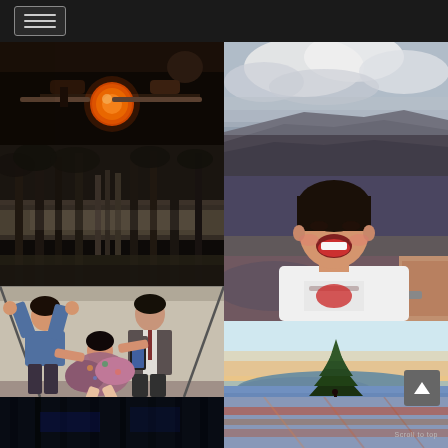[Figure (screenshot): Website screenshot showing a dark navigation bar with hamburger menu button (three horizontal lines) at top, followed by a 2-column photo grid mosaic layout. Photos include: glassblowing with orange molten glass, dramatic cloud/cliff landscape, dark moody forest in sepia, laughing Asian girl held by adult, people in elevator with humorous poses, lone pine tree at sunset over blue flower field, and partial dark forest at bottom.]
Scroll to top